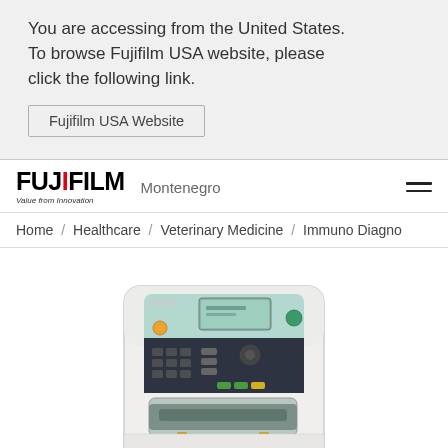You are accessing from the United States. To browse Fujifilm USA website, please click the following link.
Fujifilm USA Website
[Figure (logo): FUJIFILM logo with red I, subtitle 'Value from Innovation', region label 'Montenegro', hamburger menu icon]
Home / Healthcare / Veterinary Medicine / Immuno Diagno
[Figure (photo): Fujifilm medical/veterinary immunodiagnostics analyzer device, white boxy machine with teal/blue control panel, keypad buttons, LCD display, and cartridge slot at front]